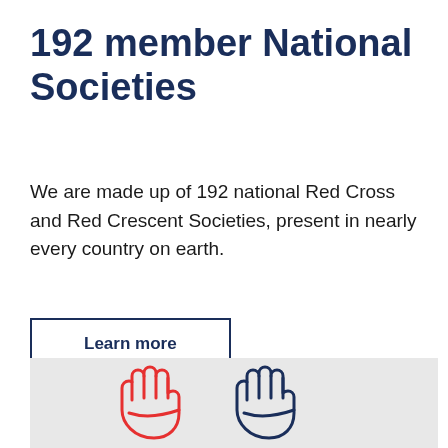192 member National Societies
We are made up of 192 national Red Cross and Red Crescent Societies, present in nearly every country on earth.
Learn more
[Figure (illustration): Two overlapping hand illustrations — one red and one dark navy blue — shown as outline drawings, representing community and partnership. Set against a light gray background.]